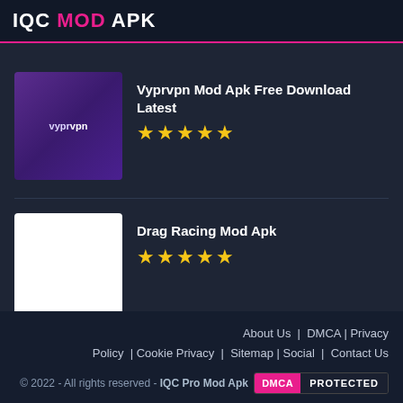IQC MOD APK
Vyprvpn Mod Apk Free Download Latest
★★★★★
Drag Racing Mod Apk
★★★★★
About Us | DMCA | Privacy Policy | Cookie Privacy | Sitemap | Social | Contact Us
DMCA PROTECTED
© 2022 - All rights reserved - IQC Pro Mod Apk